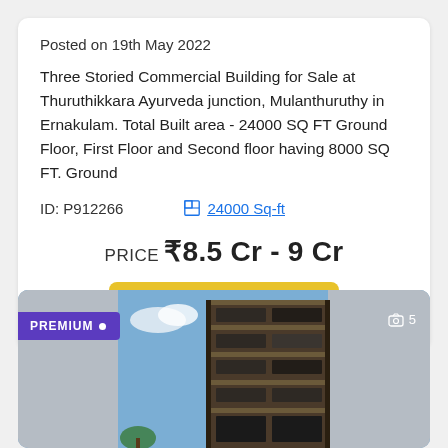Posted on 19th May 2022
Three Storied Commercial Building for Sale at Thuruthikkara Ayurveda junction, Mulanthuruthy in Ernakulam. Total Built area - 24000 SQ FT Ground Floor, First Floor and Second floor having 8000 SQ FT. Ground
ID: P912266
24000 Sq-ft
PRICE ₹8.5 Cr - 9 Cr
VIEW DETAILS
[Figure (photo): Exterior photo of a multi-storey commercial building with modern facade, shown against a blue sky background. A PREMIUM badge is shown on the top-left and a photo count of 5 on the top-right.]